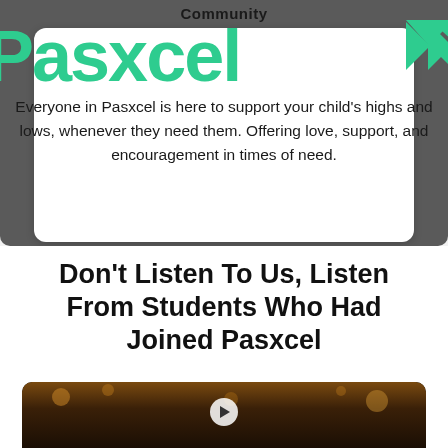Community
[Figure (logo): Pasxcel brand logo in large green text with a green geometric X/arrow icon on the right]
Everyone in Pasxcel is here to support your child's highs and lows, whenever they need them. Offering love, support, and encouragement in times of need.
Don't Listen To Us, Listen From Students Who Had Joined Pasxcel
[Figure (photo): Dark, warm-toned photo of a person with blurred bokeh lights in the background, with a play button overlay suggesting a video thumbnail]